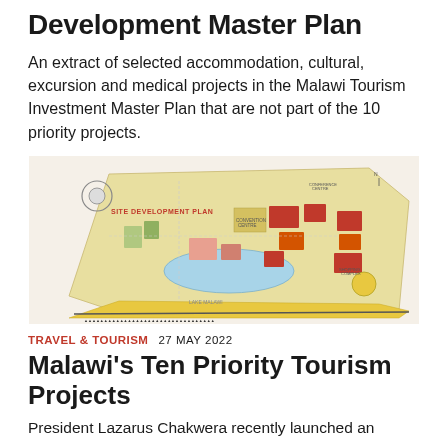Development Master Plan
An extract of selected accommodation, cultural, excursion and medical projects in the Malawi Tourism Investment Master Plan that are not part of the 10 priority projects.
[Figure (map): Site development plan map showing a large-scale architectural/urban plan with color-coded zones including roads, buildings, open spaces, and a body of water labeled 'Lake Malawi'. Red text labels 'SITE DEVELOPMENT PLAN' on the left side. Various zones are colored in yellow, orange, blue, and red.]
TRAVEL & TOURISM  27 MAY 2022
Malawi's Ten Priority Tourism Projects
President Lazarus Chakwera recently launched an